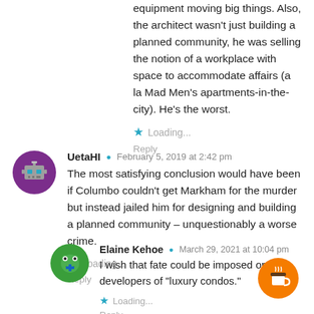equipment moving big things. Also, the architect wasn't just building a planned community, he was selling the notion of a workplace with space to accommodate affairs (a la Mad Men's apartments-in-the-city). He's the worst.
Loading...
Reply
UetaHI  February 5, 2019 at 2:42 pm
The most satisfying conclusion would have been if Columbo couldn't get Markham for the murder but instead jailed him for designing and building a planned community – unquestionably a worse crime.
Loading...
Reply
Elaine Kehoe  March 29, 2021 at 10:04 pm
I wish that fate could be imposed on developers of "luxury condos."
Loading...
Reply